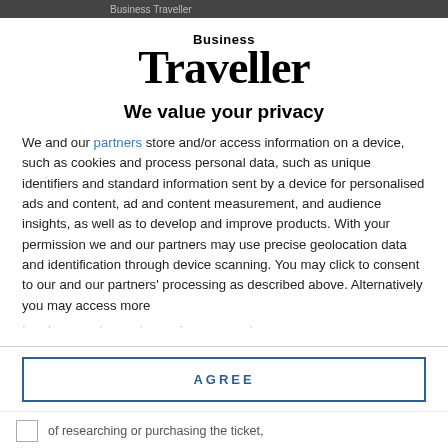Business Traveller
[Figure (logo): Business Traveller logo — 'Business' in small bold sans-serif above 'Traveller' in large bold serif font]
We value your privacy
We and our partners store and/or access information on a device, such as cookies and process personal data, such as unique identifiers and standard information sent by a device for personalised ads and content, ad and content measurement, and audience insights, as well as to develop and improve products. With your permission we and our partners may use precise geolocation data and identification through device scanning. You may click to consent to our and our partners' processing as described above. Alternatively you may access more
AGREE
MORE OPTIONS
of researching or purchasing the ticket,